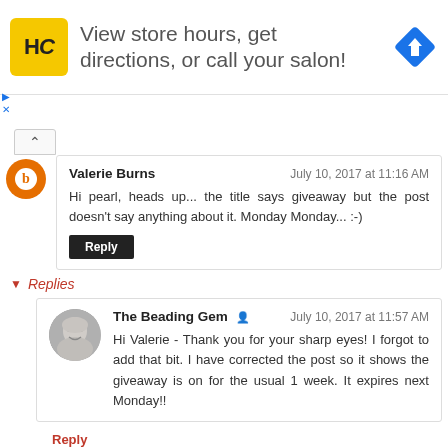[Figure (infographic): Advertisement banner with HC logo (yellow square), text 'View store hours, get directions, or call your salon!', and a blue diamond-shaped direction arrow icon. Small play and X controls at left.]
Valerie Burns
July 10, 2017 at 11:16 AM
Hi pearl, heads up... the title says giveaway but the post doesn't say anything about it. Monday Monday... :-)
Reply
Replies
[Figure (photo): Small circular avatar photo of The Beading Gem, showing an older woman with gray hair.]
The Beading Gem
July 10, 2017 at 11:57 AM
Hi Valerie - Thank you for your sharp eyes! I forgot to add that bit. I have corrected the post so it shows the giveaway is on for the usual 1 week. It expires next Monday!!
Reply